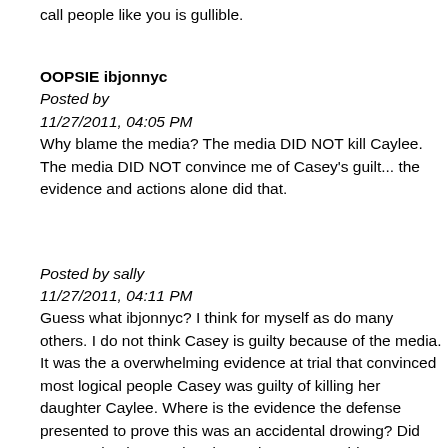call people like you is gullible.
OOPSIE ibjonnyc
Posted by
11/27/2011, 04:05 PM
Why blame the media? The media DID NOT kill Caylee. The media DID NOT convince me of Casey's guilt... the evidence and actions alone did that.
Posted by sally
11/27/2011, 04:11 PM
Guess what ibjonnyc? I think for myself as do many others. I do not think Casey is guilty because of the media. It was the a overwhelming evidence at trial that convinced most logical people Casey was guilty of killing her daughter Caylee. Where is the evidence the defense presented to prove this was an accidental drowing? Did Casey take the stand and state it was an accident? George denied baez fairy tale on the stand. All I saw was Casey climbing up a pool ladder with help, that proved nothing. They could have shown a picture of her standing in the street but that would not have proven she was hit by a car.